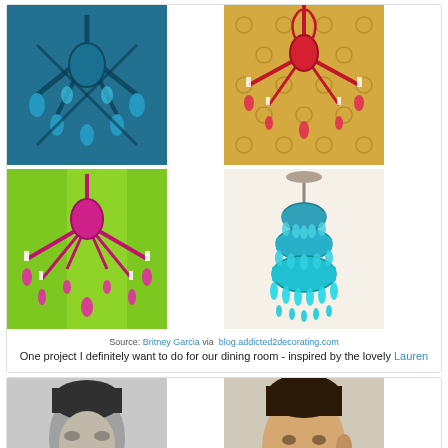[Figure (photo): 2x2 grid of colorful chandelier photos: top-left is a teal/blue chandelier, top-right is a red chandelier on gold patterned wallpaper, bottom-left is a hot pink chandelier against green background, bottom-right is a teal tiered chandelier on cream background]
Source: Britney Garcia via blog.addicted2decorating.com
One project I definitely want to do for our dining room - inspired by the lovely Lauren
[Figure (photo): Two side-by-side black and white / color photos of men with styled hair, partially visible at bottom of page]